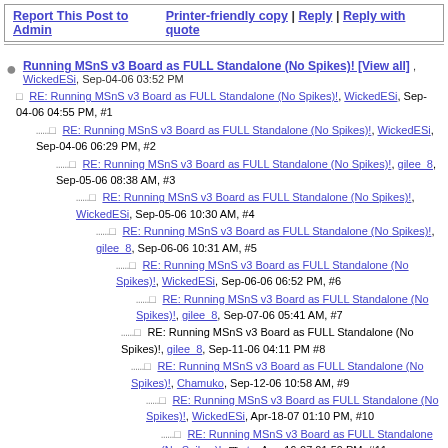Report This Post to Admin   Printer-friendly copy | Reply | Reply with quote
Running MSnS v3 Board as FULL Standalone (No Spikes)! [View all], WickedESi, Sep-04-06 03:52 PM
RE: Running MSnS v3 Board as FULL Standalone (No Spikes)!, WickedESi, Sep-04-06 04:55 PM, #1
RE: Running MSnS v3 Board as FULL Standalone (No Spikes)!, WickedESi, Sep-04-06 06:29 PM, #2
RE: Running MSnS v3 Board as FULL Standalone (No Spikes)!, gilee_8, Sep-05-06 08:38 AM, #3
RE: Running MSnS v3 Board as FULL Standalone (No Spikes)!, WickedESi, Sep-05-06 10:30 AM, #4
RE: Running MSnS v3 Board as FULL Standalone (No Spikes)!, gilee_8, Sep-06-06 10:31 AM, #5
RE: Running MSnS v3 Board as FULL Standalone (No Spikes)!, WickedESi, Sep-06-06 06:52 PM, #6
RE: Running MSnS v3 Board as FULL Standalone (No Spikes)!, gilee_8, Sep-07-06 05:41 AM, #7
RE: Running MSnS v3 Board as FULL Standalone (No Spikes)!, gilee_8, Sep-11-06 04:11 PM #8
RE: Running MSnS v3 Board as FULL Standalone (No Spikes)!, Chamuko, Sep-12-06 10:58 AM, #9
RE: Running MSnS v3 Board as FULL Standalone (No Spikes)!, WickedESi, Apr-18-07 01:10 PM, #10
RE: Running MSnS v3 Board as FULL Standalone (No Spikes)!, etx, Aug-16-07 01:59 PM, #11